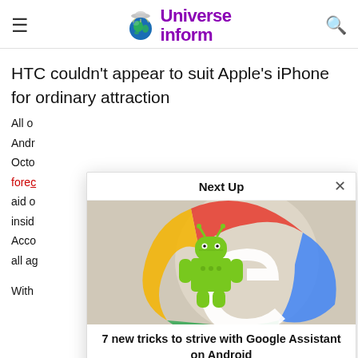Universe inform
HTC couldn't appear to suit Apple's iPhone for ordinary attraction
All o
Andr
Octo
forec
aid o
insid
Acco
all ag

With
[Figure (screenshot): Next Up modal dialog with image of Android robot figurine in front of Google logo, article title '7 new tricks to strive with Google Assistant on Android', byline 'Calvin M. Barker • January 15, 2022']
7 new tricks to strive with Google Assistant on Android
Calvin M. Barker • January 15, 2022